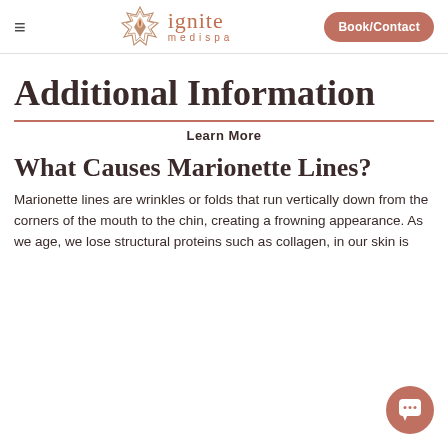ignite medispa | Book/Contact
Additional Information
Learn More
What Causes Marionette Lines?
Marionette lines are wrinkles or folds that run vertically down from the corners of the mouth to the chin, creating a frowning appearance. As we age, we lose structural proteins such as collagen, in our skin is